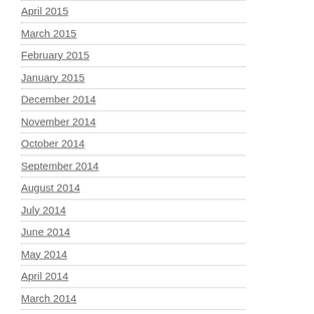April 2015
March 2015
February 2015
January 2015
December 2014
November 2014
October 2014
September 2014
August 2014
July 2014
June 2014
May 2014
April 2014
March 2014
February 2014